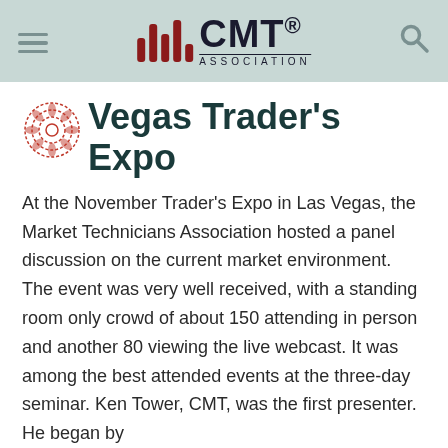CMT Association
Vegas Trader's Expo
At the November Trader's Expo in Las Vegas, the Market Technicians Association hosted a panel discussion on the current market environment. The event was very well received, with a standing room only crowd of about 150 attending in person and another 80 viewing the live webcast. It was among the best attended events at the three-day seminar. Ken Tower, CMT, was the first presenter. He began by